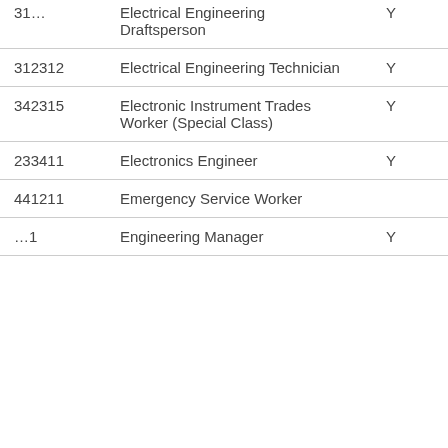| Code | Title | Col1 | Col2 |
| --- | --- | --- | --- |
| 31… | Electrical Engineering Draftsperson | Y | Y |
| 312312 | Electrical Engineering Technician | Y | Y |
| 342315 | Electronic Instrument Trades Worker (Special Class) | Y | Y |
| 233411 | Electronics Engineer | Y | Y |
| 441211 | Emergency Service Worker |  | Y |
| …1 | Engineering Manager | Y | Y |